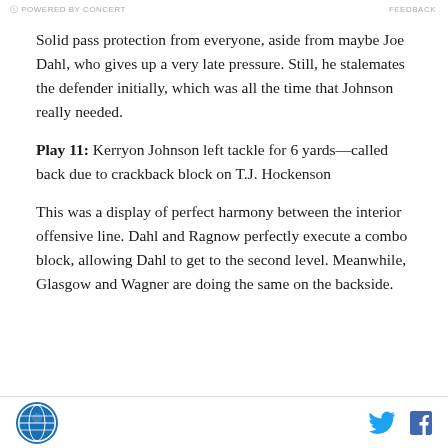POWERED BY CONCERT   FEEDBACK
Solid pass protection from everyone, aside from maybe Joe Dahl, who gives up a very late pressure. Still, he stalemates the defender initially, which was all the time that Johnson really needed.
Play 11: Kerryon Johnson left tackle for 6 yards—called back due to crackback block on T.J. Hockenson
This was a display of perfect harmony between the interior offensive line. Dahl and Ragnow perfectly execute a combo block, allowing Dahl to get to the second level. Meanwhile, Glasgow and Wagner are doing the same on the backside.
Logo and social share icons